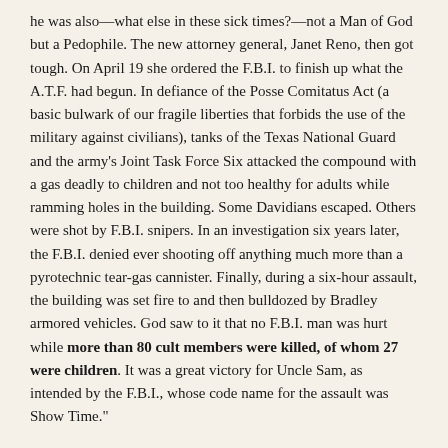he was also—what else in these sick times?—not a Man of God but a Pedophile. The new attorney general, Janet Reno, then got tough. On April 19 she ordered the F.B.I. to finish up what the A.T.F. had begun. In defiance of the Posse Comitatus Act (a basic bulwark of our fragile liberties that forbids the use of the military against civilians), tanks of the Texas National Guard and the army's Joint Task Force Six attacked the compound with a gas deadly to children and not too healthy for adults while ramming holes in the building. Some Davidians escaped. Others were shot by F.B.I. snipers. In an investigation six years later, the F.B.I. denied ever shooting off anything much more than a pyrotechnic tear-gas cannister. Finally, during a six-hour assault, the building was set fire to and then bulldozed by Bradley armored vehicles. God saw to it that no F.B.I. man was hurt while more than 80 cult members were killed, of whom 27 were children. It was a great victory for Uncle Sam, as intended by the F.B.I., whose code name for the assault was Show Time."